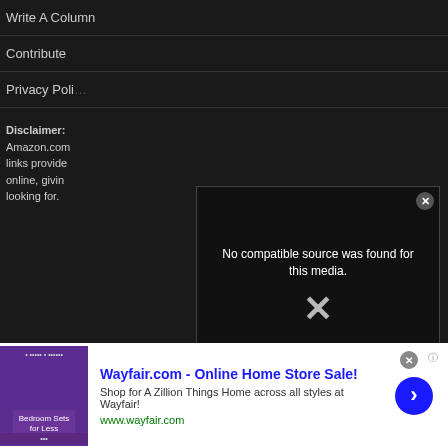Write A Column
Contribute
Privacy Poli…
Disclaimer: Amazon.com links provide online, givin looking for.
[Figure (screenshot): Video player overlay showing 'No compatible source was found for this media.' error message with a large X, overlaid on a WonderCon/Comic Con panel scene. Daily Actor watermark visible at bottom right.]
[Figure (screenshot): Wayfair.com advertisement banner. Title: 'Wayfair.com - Online Home Store Sale!', subtitle: 'Shop for A Zillion Things Home across all styles at Wayfair!', URL: www.wayfair.com. Purple bedroom image on left, blue arrow button on right.]